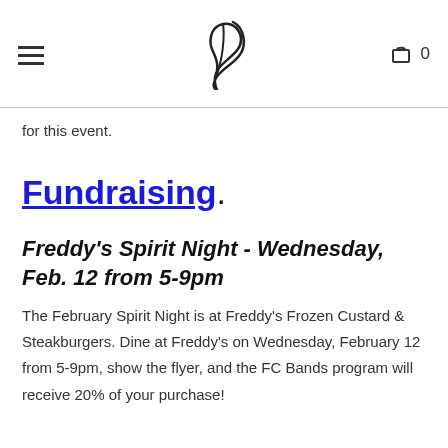Navigation header with hamburger menu, feather logo, and cart icon with 0
for this event.
Fundraising
Freddy's Spirit Night - Wednesday, Feb. 12 from 5-9pm
The February Spirit Night is at Freddy's Frozen Custard & Steakburgers. Dine at Freddy's on Wednesday, February 12 from 5-9pm, show the flyer, and the FC Bands program will receive 20% of your purchase!